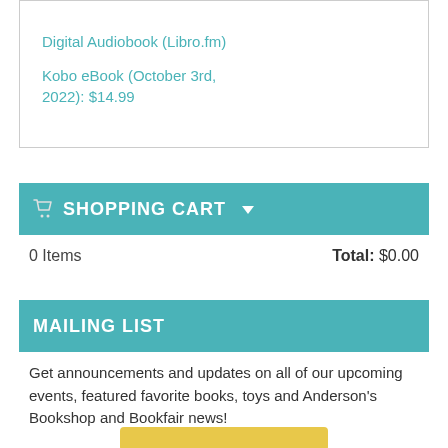Digital Audiobook (Libro.fm)
Kobo eBook (October 3rd, 2022): $14.99
SHOPPING CART
0 Items   Total: $0.00
MAILING LIST
Get announcements and updates on all of our upcoming events, featured favorite books, toys and Anderson's Bookshop and Bookfair news!